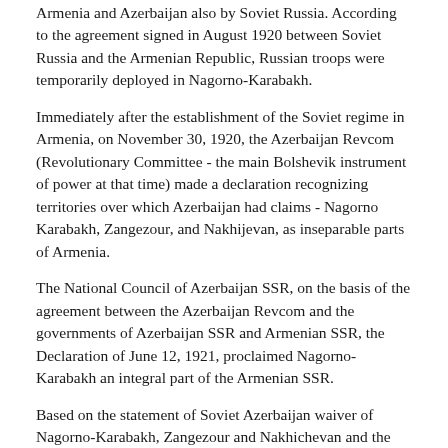Armenia and Azerbaijan also by Soviet Russia. According to the agreement signed in August 1920 between Soviet Russia and the Armenian Republic, Russian troops were temporarily deployed in Nagorno-Karabakh.
Immediately after the establishment of the Soviet regime in Armenia, on November 30, 1920, the Azerbaijan Revcom (Revolutionary Committee - the main Bolshevik instrument of power at that time) made a declaration recognizing territories over which Azerbaijan had claims - Nagorno Karabakh, Zangezour, and Nakhijevan, as inseparable parts of Armenia.
The National Council of Azerbaijan SSR, on the basis of the agreement between the Azerbaijan Revcom and the governments of Azerbaijan SSR and Armenian SSR, the Declaration of June 12, 1921, proclaimed Nagorno-Karabakh an integral part of the Armenian SSR.
Based on the statement of Soviet Azerbaijan waiver of Nagorno-Karabakh, Zangezour and Nakhichevan and the agreement between the governments of Armenia and Azerbaijan from June of 1921, Armenia also declared Nagorno-Karabakh her integral part.
The text of the decree issued by the Armenian government was published in both Armenian and Azerbaijani media ("Baku Media" as part of the Grand Zorastians of the Azerbaijani...